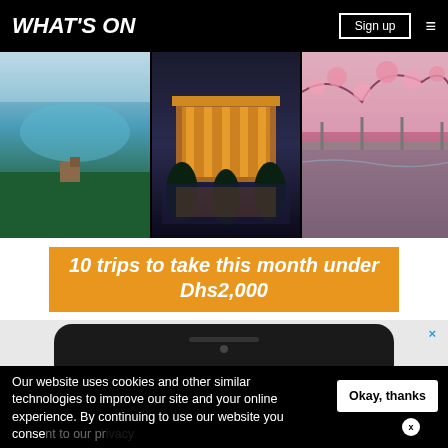WHAT'S ON | Sign up
[Figure (photo): Three travel photos side by side: aerial lake view with forest, illuminated building at night with reflection, cherry blossoms with bridge]
10 trips to take this month under Dhs2,000
[Figure (screenshot): Partial smartphone device silhouette advertisement with close X button]
Our website uses cookies and other similar technologies to improve our site and your online experience. By continuing to use our website you consent to our privacy
[Figure (other): BooksArabia.com advertisement banner with book stack image and Visit BooksArabia.com button]